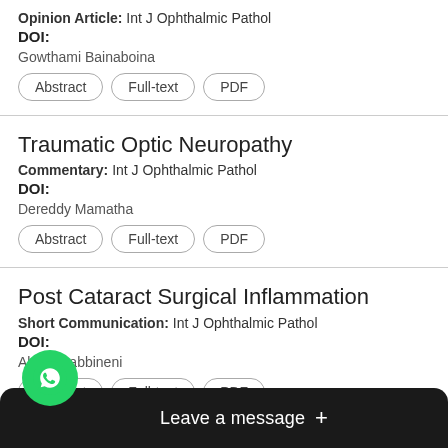Opinion Article: Int J Ophthalmic Pathol
DOI:
Gowthami Bainaboina
Abstract | Full-text | PDF
Traumatic Optic Neuropathy
Commentary: Int J Ophthalmic Pathol
DOI:
Dereddy Mamatha
Abstract | Full-text | PDF
Post Cataract Surgical Inflammation
Short Communication: Int J Ophthalmic Pathol
DOI:
Akhila Sabbineni
Abstract | Full-text | PDF
…or: Report of a Three Cas…